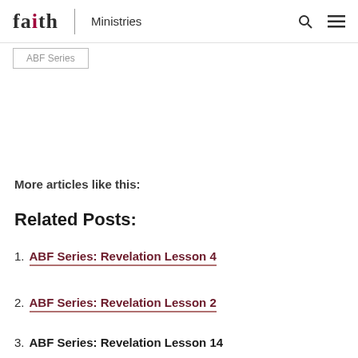faith | Ministries
ABF Series
More articles like this:
Related Posts:
ABF Series: Revelation Lesson 4
ABF Series: Revelation Lesson 2
ABF Series: Revelation Lesson 14